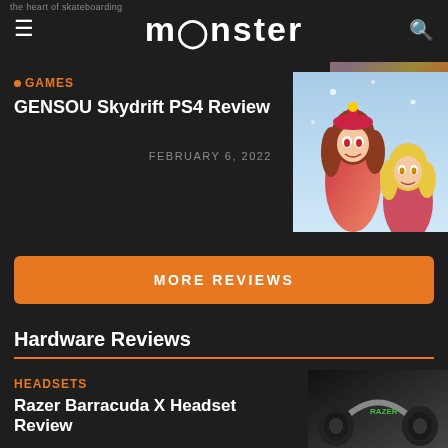monster
the heart of skateboarding
[Figure (photo): Colorful anime/illustrated top right thumbnail image]
GAMES
GENSOU Skydrift PS4 Review
FEBRUARY 6, 2022
[Figure (photo): Anime game characters in red costumes - GENSOU Skydrift PS4 Review thumbnail]
MORE REVIEWS
Hardware Reviews
HEADSETS
Razer Barracuda X Headset Review
[Figure (photo): Dark photo of Razer Barracuda X headset]